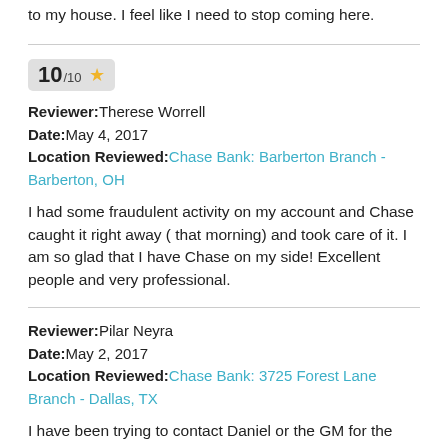to my house. I feel like I need to stop coming here.
Reviewer: Therese Worrell
Date: May 4, 2017
Location Reviewed: Chase Bank: Barberton Branch - Barberton, OH
I had some fraudulent activity on my account and Chase caught it right away ( that morning) and took care of it. I am so glad that I have Chase on my side! Excellent people and very professional.
Reviewer: Pilar Neyra
Date: May 2, 2017
Location Reviewed: Chase Bank: 3725 Forest Lane Branch - Dallas, TX
I have been trying to contact Daniel or the GM for the last 2 days and I get a recording that all bankers are busy and to call the telephone banker. I do not need a